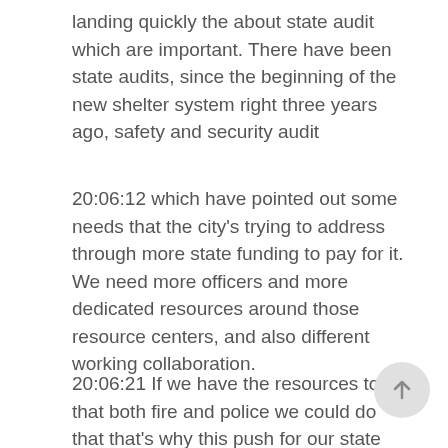landing quickly the about state audit which are important. There have been state audits, since the beginning of the new shelter system right three years ago, safety and security audit
20:06:12 which have pointed out some needs that the city's trying to address through more state funding to pay for it. We need more officers and more dedicated resources around those resource centers, and also different working collaboration.
20:06:21 If we have the resources to do that both fire and police we could do that that's why this push for our state mitigation funds is huge for us.